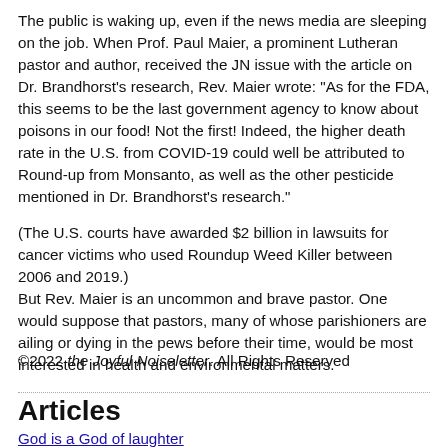The public is waking up, even if the news media are sleeping on the job. When Prof. Paul Maier, a prominent Lutheran pastor and author, received the JN issue with the article on Dr. Brandhorst's research, Rev. Maier wrote: "As for the FDA, this seems to be the last government agency to know about poisons in our food! Not the first! Indeed, the higher death rate in the U.S. from COVID-19 could well be attributed to Round-up from Monsanto, as well as the other pesticide mentioned in Dr. Brandhorst's research."

(The U.S. courts have awarded $2 billion in lawsuits for cancer victims who used Roundup Weed Killer between 2006 and 2019.)
But Rev. Maier is an uncommon and brave pastor. One would suppose that pastors, many of whose parishioners are ailing or dying in the pews before their time, would be most interested in health and environmental matters.
©2022 the Joyful Noiseletter. All Rights Reserved
Articles
God is a God of laughter